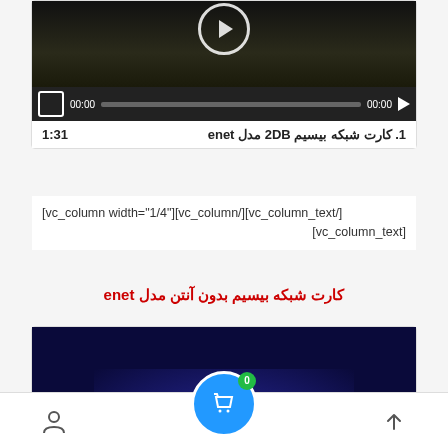[Figure (screenshot): Video player showing a dark scene with play button circle at top and control bar with 00:00 timestamps and progress bar]
1. کارت شبکه بیسیم 2DB مدل enet   1:31
[vc_column width="1/4"][vc_column/][vc_column_text/]
[vc_column_text]
کارت شبکه بیسیم بدون آنتن مدل enet
[Figure (screenshot): Video player with dark blue/purple glowing background]
Bottom navigation bar with person icon, cart FAB button with badge 0, and up arrow icon